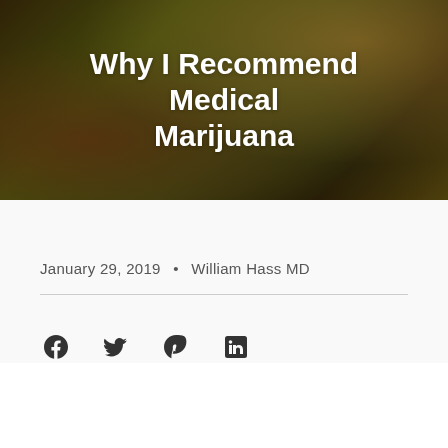[Figure (photo): Dark moody close-up photo of green plant leaves with warm golden-orange light in background]
Why I Recommend Medical Marijuana
January 29, 2019 • William Hass MD
[Figure (infographic): Social media share icons: Facebook, Twitter, Pinterest, LinkedIn]